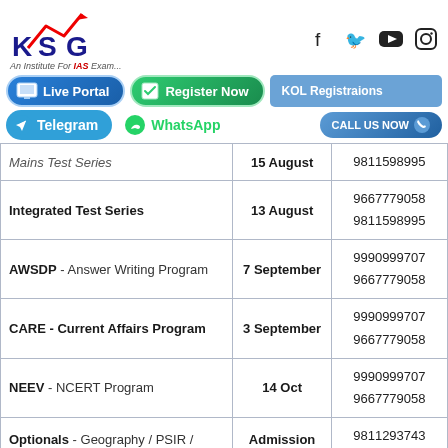[Figure (logo): KSG IAS institute logo with red arrow and tagline 'An Institute For IAS Exam...']
[Figure (infographic): Social media icons: Facebook, Twitter, YouTube, Instagram]
[Figure (infographic): Navigation buttons: Live Portal, Register Now, KOL Registrations, Telegram, WhatsApp, CALL US NOW]
| Program | Date | Contact |
| --- | --- | --- |
| Mains Test Series | 15 August | 9811598995 |
| Integrated Test Series | 13 August | 9667779058
9811598995 |
| AWSDP - Answer Writing Program | 7 September | 9990999707
9667779058 |
| CARE - Current Affairs Program | 3 September | 9990999707
9667779058 |
| NEEV - NCERT Program | 14 Oct | 9990999707
9667779058 |
| Optionals - Geography / PSIR / Sociology | Admission Open | 9811293743
7065293743 |